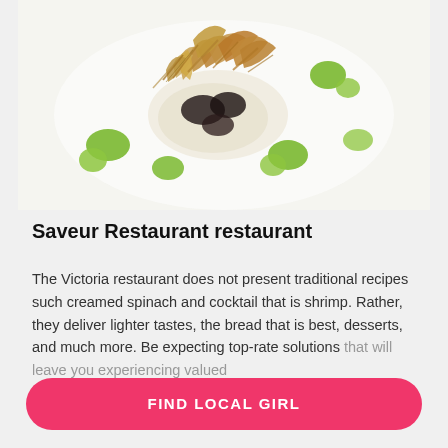[Figure (photo): A fine-dining dish on a white plate featuring seafood or meat with crispy garnish and green herb dots/puree]
Saveur Restaurant restaurant
The Victoria restaurant does not present traditional recipes such creamed spinach and cocktail that is shrimp. Rather, they deliver lighter tastes, the bread that is best, desserts, and much more. Be expecting top-rate solutions that will leave you experiencing valued
[Figure (donut-chart): 67% donut/circle progress indicator in pink/red]
FIND LOCAL GIRL